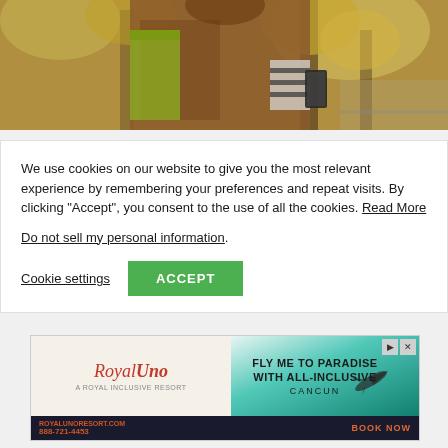[Figure (photo): Photo of a person in a brown jacket and striped shirt holding a phone outdoors, with trees in autumn foliage background]
We use cookies on our website to give you the most relevant experience by remembering your preferences and repeat visits. By clicking "Accept", you consent to the use of all the cookies. Read More
Do not sell my personal information.
Cookie settings
ACCEPT
[Figure (other): Advertisement for Royal Uno resort in Cancun with text 'FLY ME TO PARADISE WITH ALL-INCLUSIVE CANCUN' and 'BOOK NOW' button, phone 888-721-4453, website royalunoresort.com]